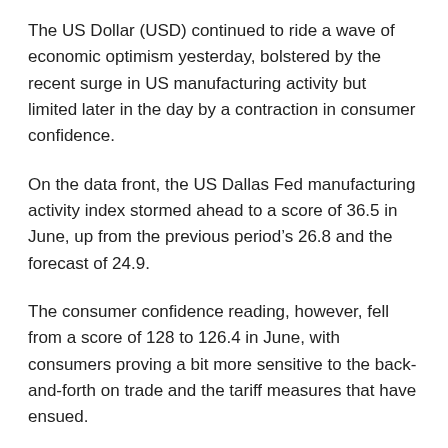The US Dollar (USD) continued to ride a wave of economic optimism yesterday, bolstered by the recent surge in US manufacturing activity but limited later in the day by a contraction in consumer confidence.
On the data front, the US Dallas Fed manufacturing activity index stormed ahead to a score of 36.5 in June, up from the previous period’s 26.8 and the forecast of 24.9.
The consumer confidence reading, however, fell from a score of 128 to 126.4 in June, with consumers proving a bit more sensitive to the back-and-forth on trade and the tariff measures that have ensued.
Today, investors will be assessing the US durable goods orders results for May, as well as the advance goods trade balance (with both releases due in the evening).
Canadian Dollar